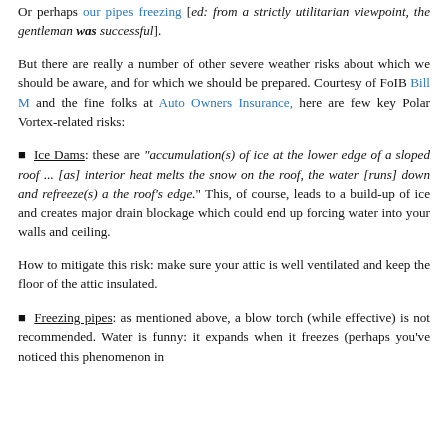Or perhaps our pipes freezing [ed: from a strictly utilitarian viewpoint, the gentleman was successful].
But there are really a number of other severe weather risks about which we should be aware, and for which we should be prepared. Courtesy of FoIB Bill M and the fine folks at Auto Owners Insurance, here are few key Polar Vortex-related risks:
Ice Dams: these are "accumulation(s) of ice at the lower edge of a sloped roof ... [as] interior heat melts the snow on the roof, the water [runs] down and refreeze(s) a the roof's edge." This, of course, leads to a build-up of ice and creates major drain blockage which could end up forcing water into your walls and ceiling.
How to mitigate this risk: make sure your attic is well ventilated and keep the floor of the attic insulated.
Freezing pipes: as mentioned above, a blow torch (while effective) is not recommended. Water is funny: it expands when it freezes (perhaps you've noticed this phenomenon in your favorite beverage). When your pipes freeze, the...